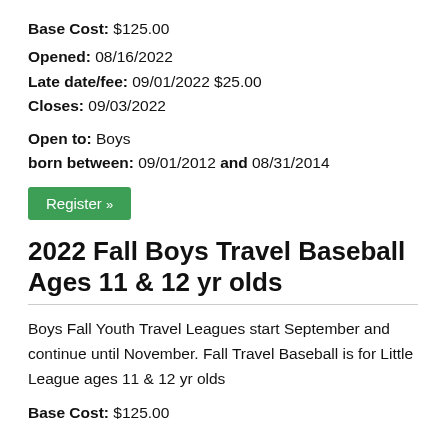Base Cost:  $125.00
Opened:  08/16/2022
Late date/fee:  09/01/2022  $25.00
Closes:  09/03/2022
Open to:  Boys
born between:  09/01/2012  and  08/31/2014
Register »
2022 Fall Boys Travel Baseball Ages 11 & 12 yr olds
Boys Fall Youth Travel Leagues start September and continue until November. Fall Travel Baseball is for Little League ages 11 & 12 yr olds
Base Cost:  $125.00